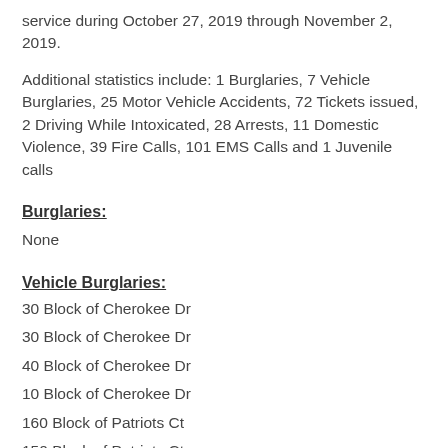service during October 27, 2019 through November 2, 2019.
Additional statistics include: 1 Burglaries, 7 Vehicle Burglaries, 25 Motor Vehicle Accidents, 72 Tickets issued, 2 Driving While Intoxicated, 28 Arrests, 11 Domestic Violence, 39 Fire Calls, 101 EMS Calls and 1 Juvenile calls
Burglaries:
None
Vehicle Burglaries:
30 Block of Cherokee Dr
30 Block of Cherokee Dr
40 Block of Cherokee Dr
10 Block of Cherokee Dr
160 Block of Patriots Ct
150 Block of Patriots Ct